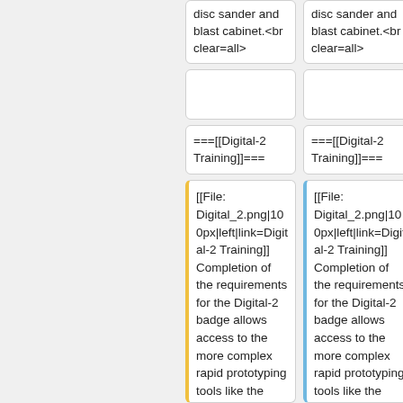disc sander and blast cabinet.<br clear=all>
disc sander and blast cabinet.<br clear=all>
===[[Digital-2 Training]]===
===[[Digital-2 Training]]===
[[File: Digital_2.png|100px|left|link=Digital-2 Training]] Completion of the requirements for the Digital-2 badge allows access to the more complex rapid prototyping tools like the AutoDesk Ember SLA 3d printers and the Carvey
[[File: Digital_2.png|100px|left|link=Digital-2 Training]] Completion of the requirements for the Digital-2 badge allows access to the more complex rapid prototyping tools like the AutoDesk Ember SLA 3d printers and the Carvey